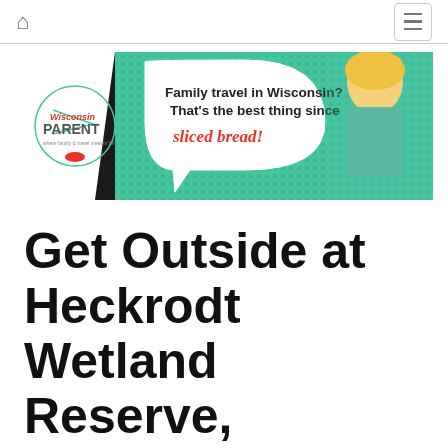Wisconsin Parent — Family travel in Wisconsin? That's the best thing since sliced bread!
[Figure (illustration): Wisconsin Parent website banner ad featuring pop-art style woman saying 'Family travel in Wisconsin? That's the best thing since sliced bread!' with Wisconsin Parent logo on the left.]
Get Outside at Heckrodt Wetland Reserve, Menasha
Sep 30, 2013 08:53PM • By Julie Henning